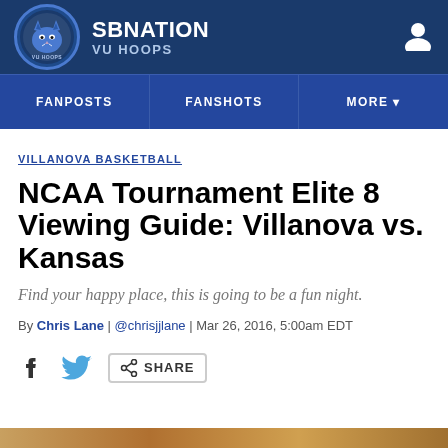SBNation VU HOOPS
FANPOSTS | FANSHOTS | MORE
VILLANOVA BASKETBALL
NCAA Tournament Elite 8 Viewing Guide: Villanova vs. Kansas
Find your happy place, this is going to be a fun night.
By Chris Lane | @chrisjjlane | Mar 26, 2016, 5:00am EDT